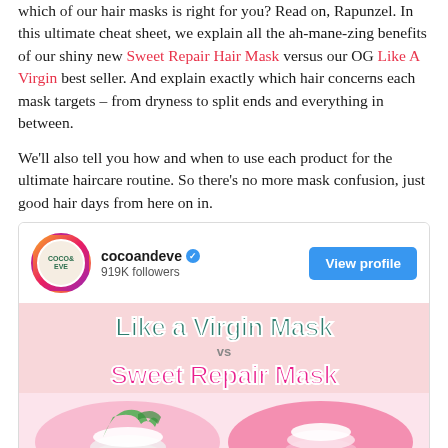which of our hair masks is right for you? Read on, Rapunzel. In this ultimate cheat sheet, we explain all the ah-mane-zing benefits of our shiny new Sweet Repair Hair Mask versus our OG Like A Virgin best seller. And explain exactly which hair concerns each mask targets – from dryness to split ends and everything in between.
We'll also tell you how and when to use each product for the ultimate haircare routine. So there's no more mask confusion, just good hair days from here on in.
[Figure (screenshot): Instagram profile embed for cocoandeve with 919K followers and a View profile button. Below is an infographic showing 'Like a Virgin Mask vs Sweet Repair Mask' with circular product images at the bottom.]